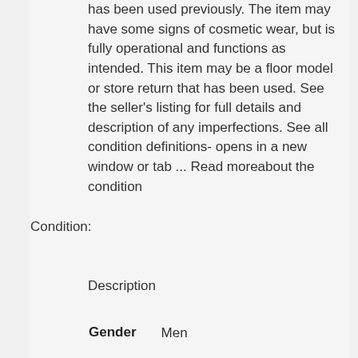Condition: has been used previously. The item may have some signs of cosmetic wear, but is fully operational and functions as intended. This item may be a floor model or store return that has been used. See the seller's listing for full details and description of any imperfections. See all condition definitions- opens in a new window or tab ... Read moreabout the condition
Description
| Gender | Men |
| --- | --- |